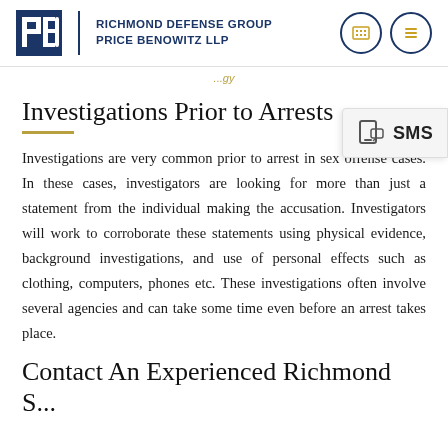Richmond Defense Group / Price Benowitz LLP
Investigations Prior to Arrests
Investigations are very common prior to arrest in sex offense cases. In these cases, investigators are looking for more than just a statement from the individual making the accusation. Investigators will work to corroborate these statements using physical evidence, background investigations, and use of personal effects such as clothing, computers, phones etc. These investigations often involve several agencies and can take some time even before an arrest takes place.
Contact An Experienced Richmond S...